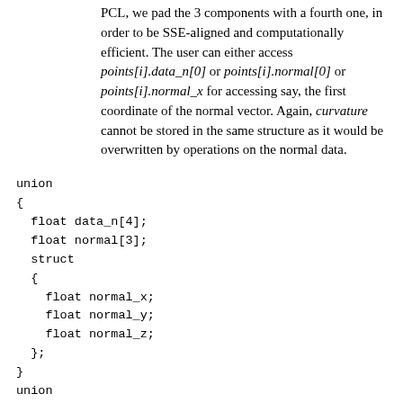PCL, we pad the 3 components with a fourth one, in order to be SSE-aligned and computationally efficient. The user can either access points[i].data_n[0] or points[i].normal[0] or points[i].normal_x for accessing say, the first coordinate of the normal vector. Again, curvature cannot be stored in the same structure as it would be overwritten by operations on the normal data.